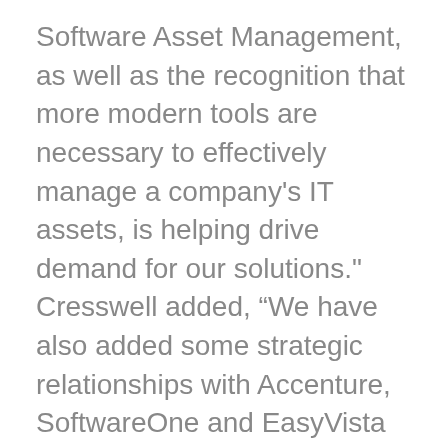Software Asset Management, as well as the recognition that more modern tools are necessary to effectively manage a company's IT assets, is helping drive demand for our solutions." Cresswell added, "We have also added some strategic relationships with Accenture, SoftwareOne and EasyVista which also contribute to increased market awareness." Cresswell concluded by saying, "I am extremely gratified by the trust and confidence our installed base has placed in the product and people as evidenced by the strong subscription renewal rate. We must continue to execute on customer satisfaction, as that is critical to the long-